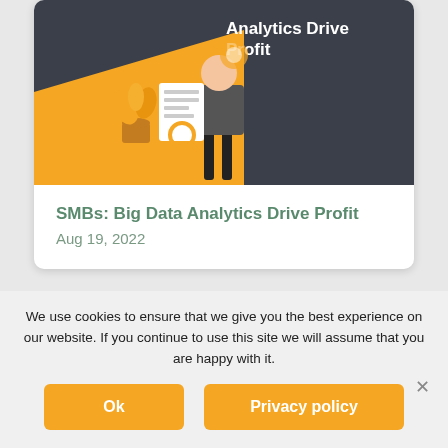[Figure (illustration): Card with dark background showing an orange shape with a business analytics illustration (plant, documents, gears, magnifying glass, person) and white text 'Analytics Drive Profit']
SMBs: Big Data Analytics Drive Profit
Aug 19, 2022
[Figure (illustration): Partial card with green background showing a light green shape on the right and a cartoon figure of a person thinking]
We use cookies to ensure that we give you the best experience on our website. If you continue to use this site we will assume that you are happy with it.
Ok
Privacy policy